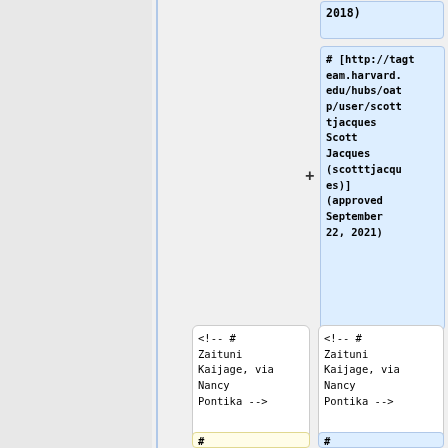2018)
# [http://tagteam.harvard.edu/hubs/oatp/user/scottjacques Scott Jacques (scotttjacques)] (approved September 22, 2021)
<!-- # Zaituni Kaijage, via Nancy Pontika -->
<!-- # Zaituni Kaijage, via Nancy Pontika -->
#
#